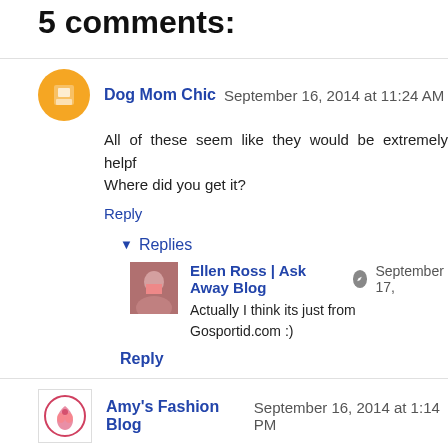5 comments:
Dog Mom Chic  September 16, 2014 at 11:24 AM
All of these seem like they would be extremely helpful. Where did you get it?
Reply
Replies
Ellen Ross | Ask Away Blog  September 17,
Actually I think its just from Gosportid.com :)
Reply
Amy's Fashion Blog  September 16, 2014 at 1:14 PM